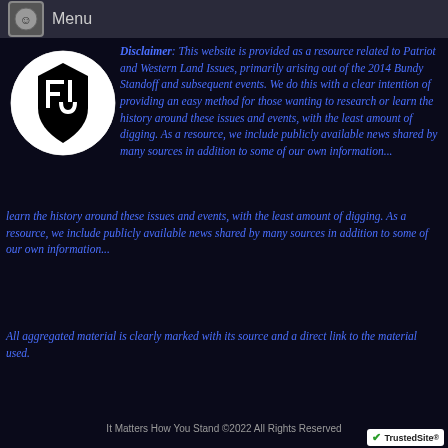Menu
[Figure (logo): Circular logo with white background and black FJ-style shield/letter mark]
Disclaimer: This website is provided as a resource related to Patriot and Western Land Issues, primarily arising out of the 2014 Bundy Standoff and subsequent events. We do this with a clear intention of providing an easy method for those wanting to research or learn the history around these issues and events, with the least amount of digging. As a resource, we include publicly available news shared by many sources in addition to some of our own information...
All aggregated material is clearly marked with its source and a direct link to the material used.
It Matters How You Stand ©2022 All Rights Reserved
[Figure (logo): TrustedSite badge with green checkmark]